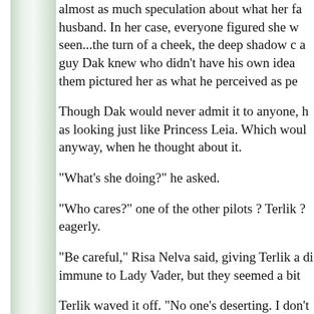almost as much speculation about what her fa husband. In her case, everyone figured she w seen...the turn of a cheek, the deep shadow c a guy Dak knew who didn't have his own idea them pictured her as what he perceived as pe
Though Dak would never admit it to anyone, h as looking just like Princess Leia. Which woul anyway, when he thought about it.
"What's she doing?" he asked.
"Who cares?" one of the other pilots ? Terlik ? eagerly.
"Be careful," Risa Nelva said, giving Terlik a di immune to Lady Vader, but they seemed a bit
Terlik waved it off. "No one's deserting. I don't
Risa paused, her face a mask of disbelief, the of Princess Leia than you are of Lady Vader's
"She's actually here; he's actually not."
Dak settled in to watch. The figure of Lady Va boy, and through the cracked static, he heard
Yuruo, a young Deridian pilot with deep blue h leaving the flickering figure. "How does the